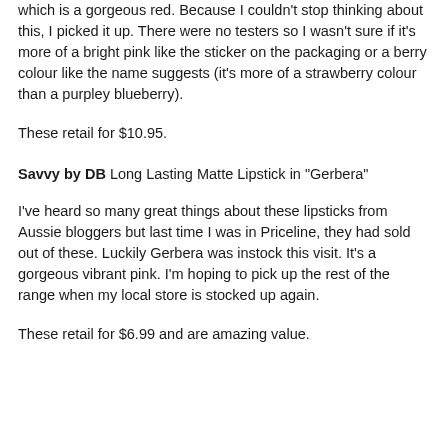which is a gorgeous red. Because I couldn't stop thinking about this, I picked it up. There were no testers so I wasn't sure if it's more of a bright pink like the sticker on the packaging or a berry colour like the name suggests (it's more of a strawberry colour than a purpley blueberry).
These retail for $10.95.
Savvy by DB Long Lasting Matte Lipstick in "Gerbera"
I've heard so many great things about these lipsticks from Aussie bloggers but last time I was in Priceline, they had sold out of these. Luckily Gerbera was instock this visit. It's a gorgeous vibrant pink. I'm hoping to pick up the rest of the range when my local store is stocked up again.
These retail for $6.99 and are amazing value.